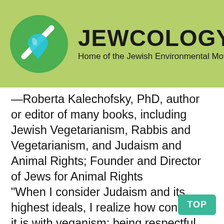[Figure (logo): Jewcology.org logo banner with green circle logo containing a leaf/drop symbol and site name 'JEWCOLOGY.ORG' with subtitle 'Home of the Jewish Environmental Movement' on a light green background]
—Roberta Kalechofsky, PhD, author or editor of many books, including Jewish Vegetarianism, Rabbis and Vegetarianism, and Judaism and Animal Rights; Founder and Director of Jews for Animal Rights
“When I consider Judaism and its highest ideals, I realize how consistent it is with veganism: being respectful and compassionate, protecting life and resources, guarding and increasing health, pursuing peace and justice, living by one’s values. I have worked with Richard Schwartz for a long time